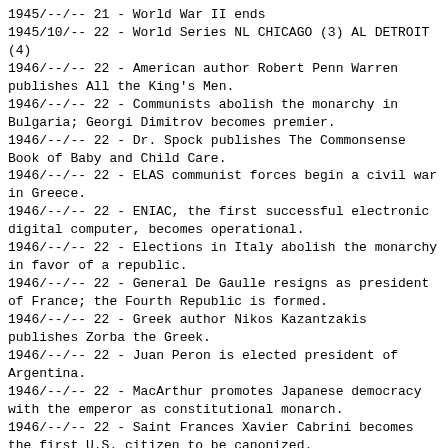1945/--/-- 21 - World War II ends
1945/10/-- 22 - World Series NL CHICAGO (3) AL DETROIT (4)
1946/--/-- 22 - American author Robert Penn Warren publishes All the King's Men.
1946/--/-- 22 - Communists abolish the monarchy in Bulgaria; Georgi Dimitrov becomes premier.
1946/--/-- 22 - Dr. Spock publishes The Commonsense Book of Baby and Child Care.
1946/--/-- 22 - ELAS communist forces begin a civil war in Greece.
1946/--/-- 22 - ENIAC, the first successful electronic digital computer, becomes operational.
1946/--/-- 22 - Elections in Italy abolish the monarchy in favor of a republic.
1946/--/-- 22 - General De Gaulle resigns as president of France; the Fourth Republic is formed.
1946/--/-- 22 - Greek author Nikos Kazantzakis publishes Zorba the Greek.
1946/--/-- 22 - Juan Peron is elected president of Argentina.
1946/--/-- 22 - MacArthur promotes Japanese democracy with the emperor as constitutional monarch.
1946/--/-- 22 - Saint Frances Xavier Cabrini becomes the first U.S. citizen to be canonized.
1946/--/-- 22 - Swiss-French architect Le Corbusier designs Unite d'Habitation in Marseilles.
1946/--/-- 22 - Terence Rattigan's play The Winslow Boy is produced.
1946/--/-- 22 - The Philippines are granted independence with Manuel Roxas as president.